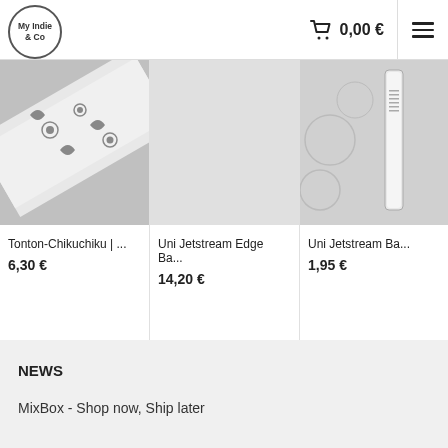[Figure (logo): My Indie & Co circular logo]
0,00 €
[Figure (illustration): Shopping cart icon and hamburger menu icon in header]
[Figure (photo): Product image - Tonton-Chikuchiku washi tape with floral pattern]
Tonton-Chikuchiku | ...
6,30 €
[Figure (photo): Product image - Uni Jetstream Edge Ba... (empty/light background)]
Uni Jetstream Edge Ba...
14,20 €
[Figure (photo): Product image - Uni Jetstream Ba... pen product]
Uni Jetstream Ba...
1,95 €
NEWS
MixBox - Shop now, Ship later